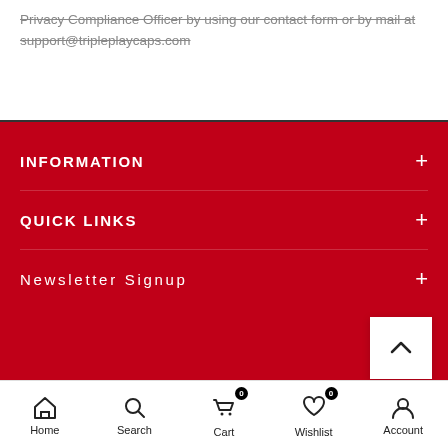Privacy Compliance Officer by using our contact form or by mail at support@tripleplaycaps.com
INFORMATION
QUICK LINKS
Newsletter Signup
Home | Search | Cart 0 | Wishlist 0 | Account